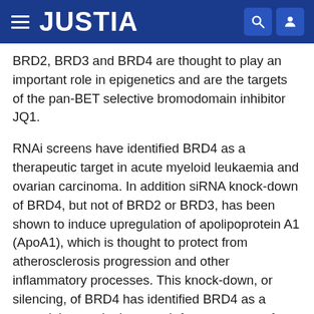JUSTIA
BRD2, BRD3 and BRD4 are thought to play an important role in epigenetics and are the targets of the pan-BET selective bromodomain inhibitor JQ1.
RNAi screens have identified BRD4 as a therapeutic target in acute myeloid leukaemia and ovarian carcinoma. In addition siRNA knock-down of BRD4, but not of BRD2 or BRD3, has been shown to induce upregulation of apolipoprotein A1 (ApoA1), which is thought to protect from atherosclerosis progression and other inflammatory processes. This knock-down, or silencing, of BRD4 has identified BRD4 as a potential target in the search for treatments of chronic obstructive pulmonary disease (COPD).
In target validation, the use of small molecule chemical probes or inhibitors, acting at the posttranslational level, has been shown to more systematically drive...